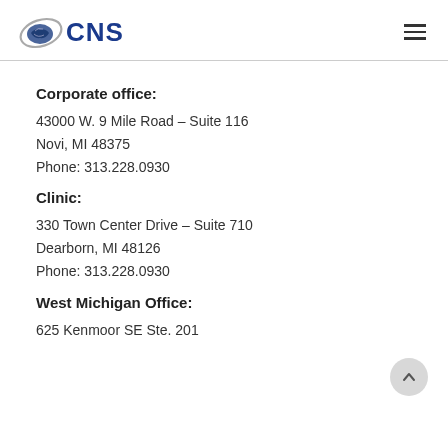CNS
Corporate office:
43000 W. 9 Mile Road – Suite 116
Novi, MI 48375
Phone: 313.228.0930
Clinic:
330 Town Center Drive – Suite 710
Dearborn, MI 48126
Phone: 313.228.0930
West Michigan Office:
625 Kenmoor SE Ste. 201